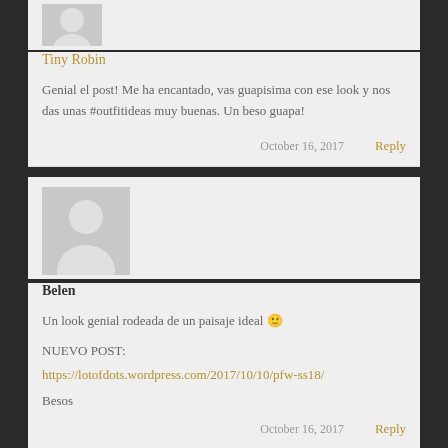[Figure (illustration): Default user avatar icon (gray silhouette on gray background), small size]
Tiny Robin
Genial el post! Me ha encantado, vas guapisima con ese look y nos das unas #outfitideas muy buenas. Un beso guapa!
October 16, 2017   Reply
[Figure (illustration): Default user avatar icon (gray silhouette on gray background), large size]
Belen
Un look genial rodeada de un paisaje ideal 🙂
NUEVO POST:
https://lotofdots.wordpress.com/2017/10/10/pfw-ss18/
Besos
October 16, 2017   Reply